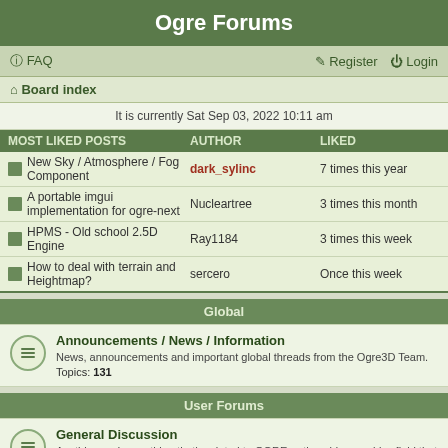Ogre Forums
FAQ   Register   Login
Board index
It is currently Sat Sep 03, 2022 10:11 am
| MOST LIKED POSTS | AUTHOR | LIKED |
| --- | --- | --- |
| New Sky / Atmosphere / Fog Component | dark_sylinc | 7 times this year |
| A portable imgui implementation for ogre-next | Nucleartree | 3 times this month |
| HPMS - Old school 2.5D Engine | Ray1184 | 3 times this week |
| How to deal with terrain and Heightmap? | sercero | Once this week |
Global
Announcements / News / Information
News, announcements and important global threads from the Ogre3D Team.
Topics: 131
User Forums
General Discussion
Anything and everything that's related to OGRE or the wider graphics field that doesn't fit into the other forums.
Topics: 8568
Help
Problems building or running the engine, queries about how to use features etc.
Topics: 38352